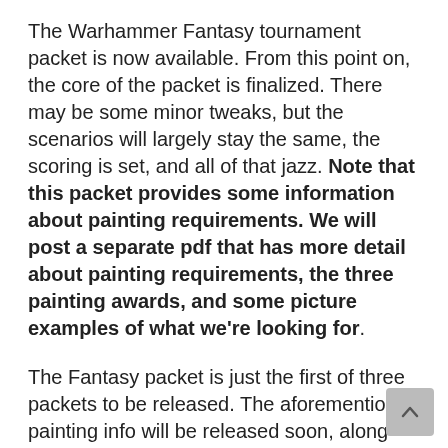The Warhammer Fantasy tournament packet is now available.  From this point on, the core of the packet is finalized.  There may be some minor tweaks, but the scenarios will largely stay the same, the scoring is set, and all of that jazz. Note that this packet provides some information about painting requirements. We will post a separate pdf that has more detail about painting requirements, the three painting awards, and some picture examples of what we're looking for.
The Fantasy packet is just the first of three packets to be released.  The aforementioned painting info will be released soon, along with the 40k packet.  Again – we reserve the right to make some changes up until a month prior to the tournament (we're still doing some tweaking